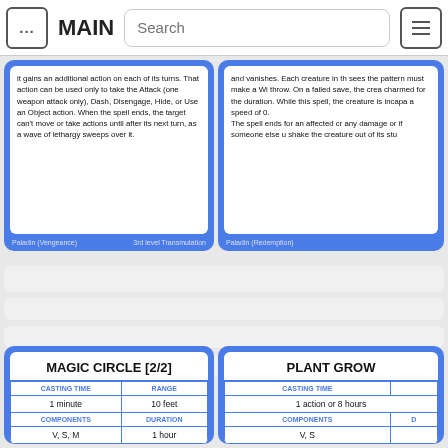... MAIN  Search  ☰
it gains an additional action on each of its turns. That action can be used only to take the Attack (one weapon attack only), Dash, Disengage, Hide, or Use an Object action. When the spell ends, the target can't move or take actions until after its next turn, as a wave of lethargy sweeps over it.
Paladin (Vengeance)  3rd level Transmutation
and vanishes. Each creature in th sees the pattern must make a Wi throw. On a failed save, the crea charmed for the duration. While this spell, the creature is incapa a speed of 0. The spell ends for an affected cr any damage or if someone else u shake the creature out of its stu
Paladin (Redemption)
| MAGIC CIRCLE [2/2] |
| --- |
| CASTING TIME | RANGE |
| 1 minute | 10 feet |
| COMPONENTS | DURATION |
| V, S, M | 1 hour |
| PLANT GROW... |
| --- |
| CASTING TIME |  |
| 1 action or 8 hours |  |
| COMPONENTS | D... |
| V, S |  |